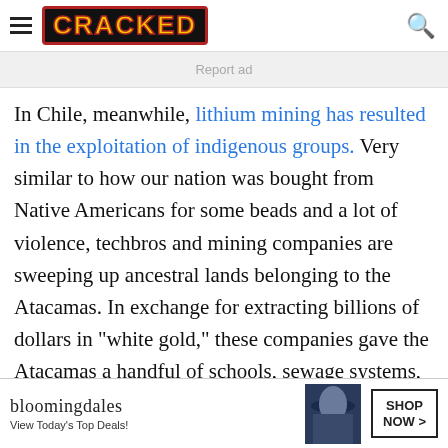CRACKED
Report ad
In Chile, meanwhile, lithium mining has resulted in the exploitation of indigenous groups. Very similar to how our nation was bought from Native Americans for some beads and a lot of violence, techbros and mining companies are sweeping up ancestral lands belonging to the Atacamas. In exchange for extracting billions of dollars in "white gold," these companies gave the Atacamas a handful of schools, sewage systems, and other public amenities ... only to cheat them out of so
[Figure (screenshot): Bloomingdale's advertisement banner at the bottom of the page. Shows the Bloomingdale's logo, tagline 'View Today's Top Deals!', a woman in a hat, and a 'SHOP NOW >' button.]